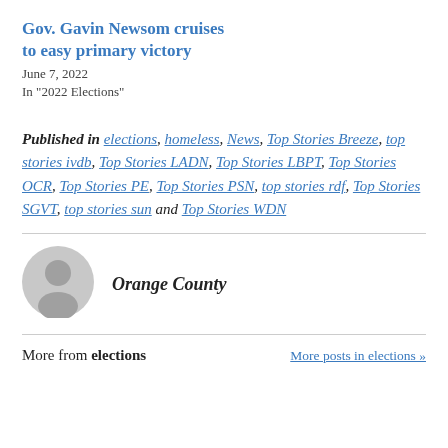Gov. Gavin Newsom cruises to easy primary victory
June 7, 2022
In "2022 Elections"
Published in elections, homeless, News, Top Stories Breeze, top stories ivdb, Top Stories LADN, Top Stories LBPT, Top Stories OCR, Top Stories PE, Top Stories PSN, top stories rdf, Top Stories SGVT, top stories sun and Top Stories WDN
[Figure (illustration): Gray circular avatar/profile icon]
Orange County
More from elections    More posts in elections »